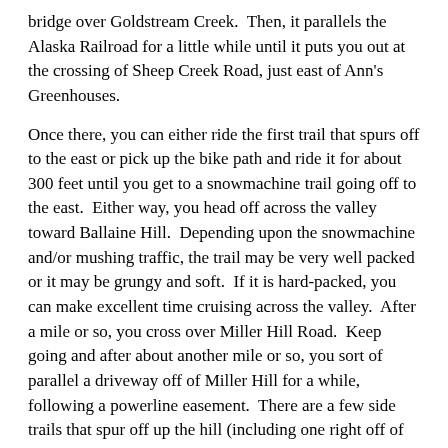bridge over Goldstream Creek.  Then, it parallels the Alaska Railroad for a little while until it puts you out at the crossing of Sheep Creek Road, just east of Ann's Greenhouses.
Once there, you can either ride the first trail that spurs off to the east or pick up the bike path and ride it for about 300 feet until you get to a snowmachine trail going off to the east.  Either way, you head off across the valley toward Ballaine Hill.  Depending upon the snowmachine and/or mushing traffic, the trail may be very well packed or it may be grungy and soft.  If it is hard-packed, you can make excellent time cruising across the valley.  After a mile or so, you cross over Miller Hill Road.  Keep going and after about another mile or so, you sort of parallel a driveway off of Miller Hill for a while, following a powerline easement.  There are a few side trails that spur off up the hill (including one right off of Sheep Creek, about a quarter-mile from the railroad that is a BLAST to come down in the winter!) which can be explored later.
In short order, the powerline leaves the residential area and starts across the frozen bogs and swamps before getting to Ballaine Hill.  The line does a weird triangular jog along two section lines, then meanders back toward Ballaine Road.  You come out at the bottom of the hill.  You can now either ride the bike path directly or take the snowmachine trail that parallels it for a bit, crosses over Goldstream Creek, and then links up to it (as is mapped).  Once